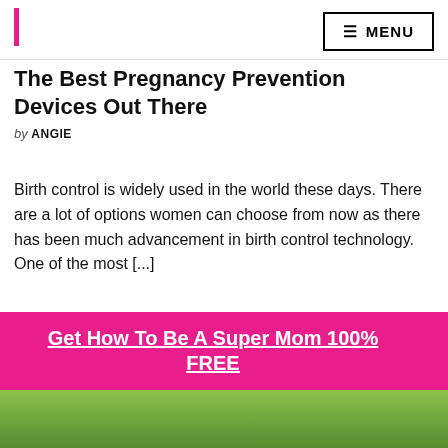MENU
The Best Pregnancy Prevention Devices Out There
by ANGIE
Birth control is widely used in the world these days. There are a lot of options women can choose from now as there has been much advancement in birth control technology. One of the most [...]
Get How To Be A Super Mom 100% FREE
[Figure (photo): Mother lifting baby in outdoor grassy setting]